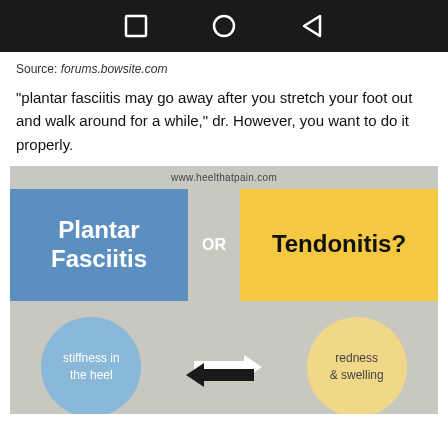[Figure (screenshot): Android phone navigation bar with square, circle, and back triangle icons on black background]
Source: forums.bowsite.com
“plantar fasciitis may go away after you stretch your foot out and walk around for a while,” dr. However, you want to do it properly.
[Figure (infographic): Infographic from www.heelthatpain.com showing Plantar Fasciitis OR Tendonitis? with blue box for Plantar Fasciitis, yellow box for Tendonitis?, blue circle saying stiffness in the heel, yellow circle saying redness & swelling, and arrows between them.]